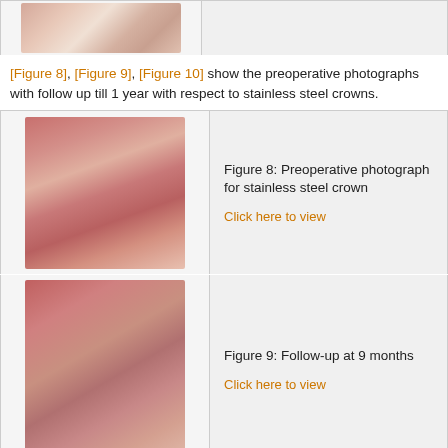[Figure (photo): Top partial figure row showing dental photograph (teeth from frontal view), partially visible]
[Figure 8], [Figure 9], [Figure 10] show the preoperative photographs with follow up till 1 year with respect to stainless steel crowns.
[Figure (photo): Figure 8: Preoperative photograph for stainless steel crown - intraoral view showing upper arch from below]
Figure 8: Preoperative photograph for stainless steel crown
[Figure (photo): Figure 9: Follow-up at 9 months - intraoral view showing upper arch with stainless steel crowns]
Figure 9: Follow-up at 9 months
[Figure (photo): Figure 10: Follow-up at 1 year - partial view at bottom of page]
Figure 10: Follow-up at 1 year